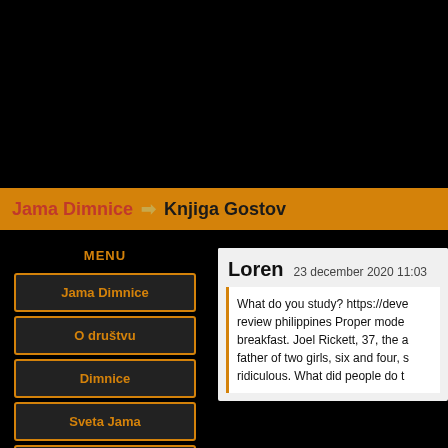Jama Dimnice → Knjiga Gostov
MENU
Jama Dimnice
O društvu
Dimnice
Sveta Jama
Jama pred kotlom
Loren  23 december 2020 11:03
What do you study? https://deve review philippines Proper mode breakfast. Joel Rickett, 37, the a father of two girls, six and four, s ridiculous. What did people do t